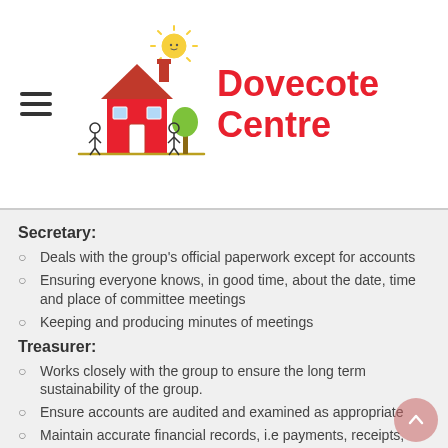[Figure (logo): Dovecote Centre logo with cartoon house, sun, children, and tree illustration]
Secretary:
Deals with the group's official paperwork except for accounts
Ensuring everyone knows, in good time, about the date, time and place of committee meetings
Keeping and producing minutes of meetings
Treasurer:
Works closely with the group to ensure the long term sustainability of the group.
Ensure accounts are audited and examined as appropriate
Maintain accurate financial records, i.e payments, receipts,